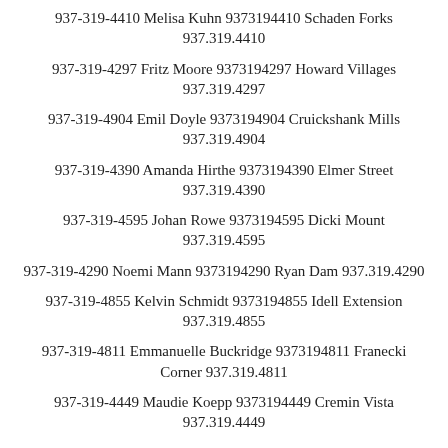937-319-4410 Melisa Kuhn 9373194410 Schaden Forks 937.319.4410
937-319-4297 Fritz Moore 9373194297 Howard Villages 937.319.4297
937-319-4904 Emil Doyle 9373194904 Cruickshank Mills 937.319.4904
937-319-4390 Amanda Hirthe 9373194390 Elmer Street 937.319.4390
937-319-4595 Johan Rowe 9373194595 Dicki Mount 937.319.4595
937-319-4290 Noemi Mann 9373194290 Ryan Dam 937.319.4290
937-319-4855 Kelvin Schmidt 9373194855 Idell Extension 937.319.4855
937-319-4811 Emmanuelle Buckridge 9373194811 Franecki Corner 937.319.4811
937-319-4449 Maudie Koepp 9373194449 Cremin Vista 937.319.4449